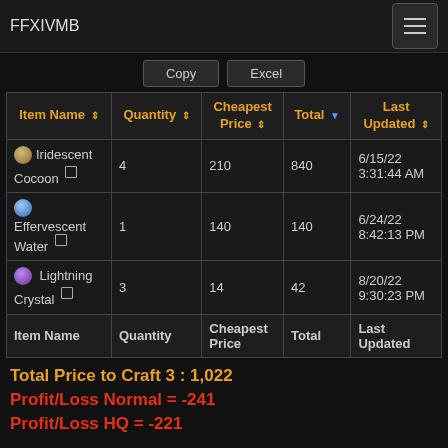FFXIVMB
| Item Name | Quantity | Cheapest Price | Total | Last Updated |
| --- | --- | --- | --- | --- |
| Iridescent Cocoon | 4 | 210 | 840 | 6/15/22 3:31:44 AM |
| Effervescent Water | 1 | 140 | 140 | 6/24/22 8:42:13 PM |
| Lightning Crystal | 3 | 14 | 42 | 8/20/22 9:30:23 PM |
| Item Name | Quantity | Cheapest Price | Total | Last Updated |
Total Price to Craft 3 : 1,022
Profit/Loss Normal = -241
Profit/Loss HQ = -221